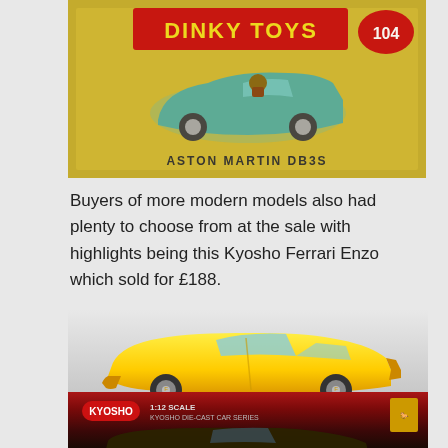[Figure (photo): Dinky Toys box number 104 showing Aston Martin DB3S model car on yellow box with red and blue branding]
Buyers of more modern models also had plenty to choose from at the sale with highlights being this Kyosho Ferrari Enzo which sold for £188.
[Figure (photo): Kyosho Ferrari Enzo 1:12 scale die-cast car series, showing yellow Ferrari Enzo model car above the red product box with a second dark-colored Enzo model inside]